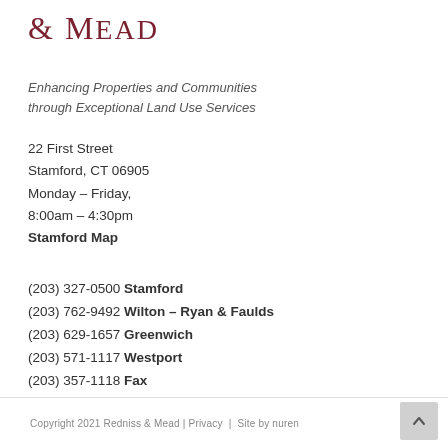& Mead
Enhancing Properties and Communities through Exceptional Land Use Services
22 First Street
Stamford, CT 06905
Monday – Friday,
8:00am – 4:30pm
Stamford Map
(203) 327-0500 Stamford
(203) 762-9492 Wilton – Ryan & Faulds
(203) 629-1657 Greenwich
(203) 571-1117 Westport
(203) 357-1118 Fax
Copyright 2021 Redniss & Mead | Privacy | Site by nuren